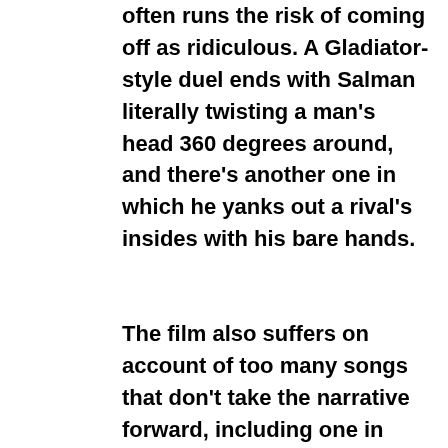often runs the risk of coming off as ridiculous. A Gladiator-style duel ends with Salman literally twisting a man's head 360 degrees around, and there's another one in which he yanks out a rival's insides with his bare hands.
The film also suffers on account of too many songs that don't take the narrative forward, including one in which Neena Gupta jiggles